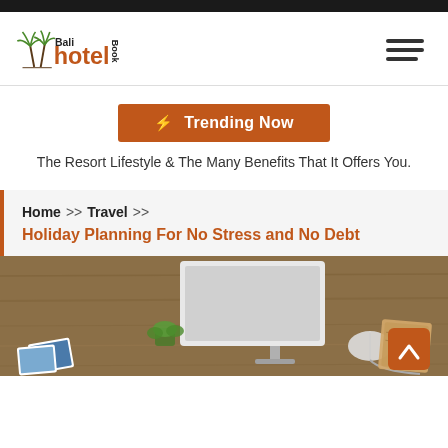Bali Hotel Book
⚡ Trending Now
The Resort Lifestyle & The Many Benefits That It Offers You.
Home >> Travel >> Holiday Planning For No Stress and No Debt
[Figure (photo): A wooden desk with a computer monitor, mouse, succulent plant, travel photos, and notebook — a holiday planning desktop setup.]